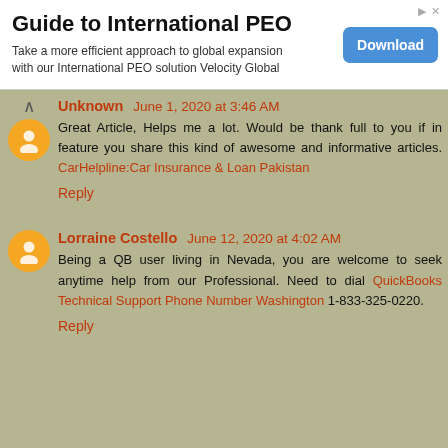[Figure (other): Advertisement banner for Guide to International PEO with Download button]
Unknown June 1, 2020 at 3:46 AM
Great Article, Helps me a lot. Would be thank full to you if in feature you share this kind of awesome and informative articles. CarHelpline:Car Insurance & Loan Pakistan
Reply
Lorraine Costello June 12, 2020 at 4:02 AM
Being a QB user living in Nevada, you are welcome to seek anytime help from our Professional. Need to dial QuickBooks Technical Support Phone Number Washington 1-833-325-0220.
Reply